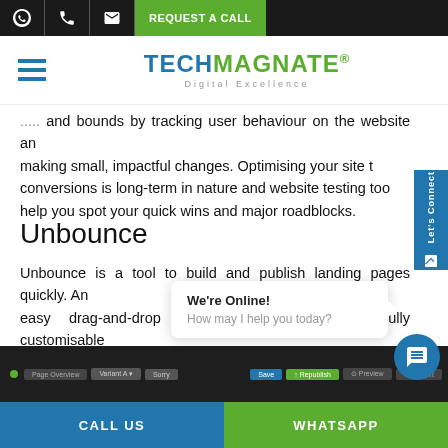REQUEST A CALL
[Figure (logo): TechMagnate logo with tagline 'Digital Excellence']
and bounds by tracking user behaviour on the website and making small, impactful changes. Optimising your site to conversions is long-term in nature and website testing tools help you spot your quick wins and major roadblocks.
Unbounce
Unbounce is a tool to build and publish landing pages quickly. An easy drag-and-drop builder helps you build fully customisable landing pages which through A/B testing, experiments, a
[Figure (screenshot): Screenshot of Unbounce page builder interface]
CALL US | WHATSAPP